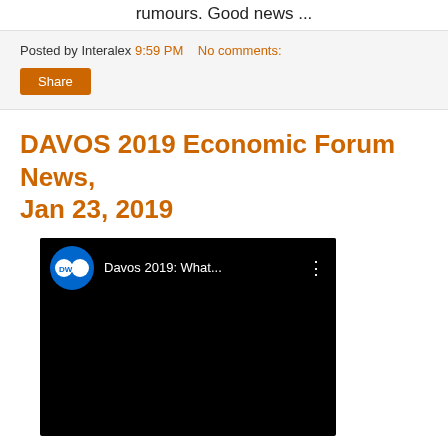rumours. Good news ...
Posted by Interalex 9:59 PM   No comments:
Share
DAVOS 2019 Economic Forum News, Jan 23, 2019
[Figure (screenshot): YouTube video thumbnail for DW channel showing 'Davos 2019: What...' with DW logo, black video area, and three-dot menu icon]